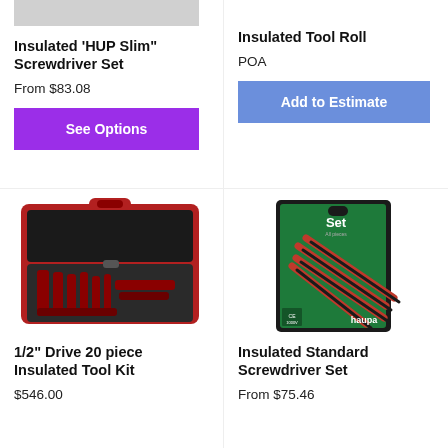[Figure (photo): Partial product image (gray rectangle) at top left]
Insulated 'HUP Slim" Screwdriver Set
From $83.08
See Options
Insulated Tool Roll
POA
Add to Estimate
[Figure (photo): Open red tool case with insulated tools inside - 1/2" Drive 20 piece Insulated Tool Kit]
1/2" Drive 20 piece Insulated Tool Kit
$546.00
[Figure (photo): Green and black product box showing Haupa insulated standard screwdriver set]
Insulated Standard Screwdriver Set
From $75.46